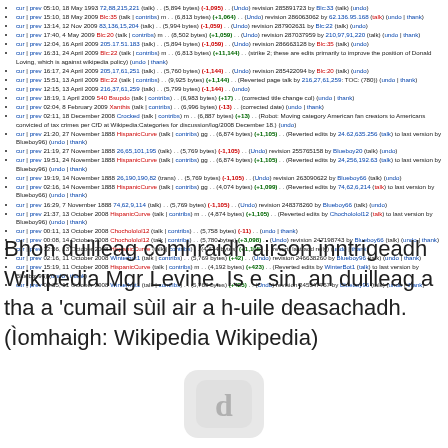cur | prev 05:10, 18 May 1993 72,88,215,221 (talk) ... (5,894 bytes) (-1,095) ... (Undo) revision 285891723 by Blc:33 (talk) (undo)
cur | prev 15:10, 18 May 2009 Blc:35 (talk | contribs) m ... (6,813 bytes) (+1,064) ... (Undo) revision 286063062 by 62.136.95.168 (talk) (undo | thank)
cur | prev 13:14, 12 Nov 2009 83,136,15,204 (talk) ... (5,994 bytes) (-1,059) ... (Undo) revision 287902631 by Blc:22 (talk) (undo)
cur | prev 17:40, 4 May 2009 Blc:20 (talk | contribs) m ... (8,502 bytes) (+1,059) ... (Undo) revision 287037959 by 210.97.91.220 (talk) (undo | thank)
cur | prev 12:04, 16 April 2009 205.17.51.183 (talk) ... (5,894 bytes) (-1,059) ... (Undo) revision 286663128 by Blc:35 (talk) (undo)
cur | prev 16:31, 24 April 2009 Blc:22 (talk | contribs) m ... (6,813 bytes) (+11,144) ... (strike 2; these are edits primarily to improve the position of Donald Loving, which is against wikipedia policy) (undo | thank)
cur | prev 16:17, 24 April 2009 205.17.61.251 (talk) ... (5,760 bytes) (-1,144) ... (Undo) revision 285422094 by Blc:20 (talk) (undo)
cur | prev 15:51, 13 April 2009 Blc:22 (talk | contribs) ... (9,925 bytes) (+1,144) ... (Reverted page talk by 216.27.61.259: TOC: (780)) (undo | thank)
cur | prev 12:15, 13 April 2009 216.37.61.259 (talk) ... (5,799 bytes) (-1,144) ... (undo)
cur | prev 18:19, 1 April 2009 540 Bsupdo (talk | contribs) ... (6,983 bytes) (+17) ... (corrected title change col) (undo | thank)
cur | prev 02:04, 8 February 2009 Xanthis (talk | contribs) ... (6,996 bytes) (-13) ... (corrected date) (undo | thank)
cur | prev 02:11, 18 December 2008 Crocked (talk | contribs) m ... (6,887 bytes) (+13) ... (Robot: Moving category American fan creators to Americans convicted of tax crimes per CfD at Wikipedia:Categories for discussion/log/2008 December 18.) (undo)
cur | prev 21:20, 27 November 1888 HispanicCurve (talk | contribs) gg ... (6,874 bytes) (+1,105) ... (Reverted edits by 24.62,635.256 (talk) to last version by Blueboy96) (undo | thank)
cur | prev 21:19, 27 November 1888 26,65,101,195 (talk) ... (5,769 bytes) (-1,105) ... (Undo) revision 255765158 by Blueboy20 (talk) (undo)
cur | prev 19:51, 24 November 1888 HispanicCurve (talk | contribs) gg ... (6,874 bytes) (+1,105) ... (Reverted edits by 24,256,192.63 (talk) to last version by Blueboy96) (undo | thank)
cur | prev 19:19, 14 November 1888 26,190,190,82 (trans) ... (5,769 bytes) (-1,105) ... (Undo) revision 263090622 by Blueboy66 (talk) (undo)
cur | prev 02:16, 14 November 1888 HispanicCurve (talk | contribs) gg ... (4,074 bytes) (+1,099) ... (Reverted edits by 74,62,6,214 (talk) to last version by Blueboy66) (undo | thank)
cur | prev 16:29, 7 November 1888 74,62,9,114 (talk) ... (5,769 bytes) (-1,105) ... (Undo) revision 248378260 by Blueboy66 (talk) (undo)
cur | prev 21:37, 13 October 2008 HispanicCurve (talk | contribs) m ... (4,874 bytes) (+1,105) ... (Reverted edits by Chochololol12 (talk) to last version by Blueboy96) (undo | thank)
cur | prev 00:11, 13 October 2008 Chochololol12 (talk | contribs) ... (5,758 bytes) (-11) ... (undo | thank)
cur | prev 00:08, 14 October 2008 Chochololol12 (talk | contribs) ... (5,780 bytes) (+3,098) ... (Undo) revision 247198743 by Blueboy66 (talk) (undo | thank)
cur | prev 12:36, 13 October 2008 HispanicCurve (talk | contribs) ... (4,674 bytes) (+1,105) ... (revert, last add reily) (undo | thank)
cur | prev 02:16, 11 October 2008 Winterhut1 (talk | contribs) ... (5,769 bytes) (+42) ... (Undo) revision 246638260 by Blueboy96 (talk) (undo | thank)
cur | prev 15:19, 11 October 2008 HispanicCurve (talk | contribs) m ... (4,192 bytes) (+423) ... (Reverted edits by WinterBot1 (talk) to last version by Blueboy96) (undo | thank)
cur | prev 00:35, 11 October 2008 Winterhut1 (talk | contribs) ... (5,769 bytes) (+425) ... (Undo) revision 245547757 by Blueboy96 (talk) (undo | thank)
Bhon duilleag còmhraidh airson inntrigeadh Wikipedia Mgr Levine. Is e sin, an duilleag a tha a 'cumail sùil air a h-uile deasachadh. (Ìomhaigh: Wikipedia Wikipedia)
[Figure (logo): Wikipedia 'd' logo icon in light grey on rounded rectangle background]